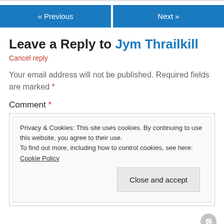[Figure (other): Navigation buttons: « Previous and Next »]
Leave a Reply to Jym Thrailkill
Cancel reply
Your email address will not be published. Required fields are marked *
Comment *
Privacy & Cookies: This site uses cookies. By continuing to use this website, you agree to their use.
To find out more, including how to control cookies, see here: Cookie Policy
Close and accept